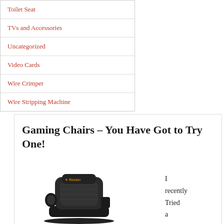Toilet Seat
TVs and Accessories
Uncategorized
Video Cards
Wire Crimper
Wire Stripping Machine
Gaming Chairs – You Have Got to Try One!
[Figure (photo): A black X Rocker gaming chair with speakers and padded seat, shown from a front-angled view]
I recently Tried a